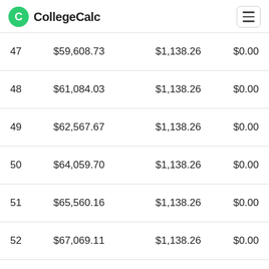CollegeCalc
| # | Balance | Payment | Interest |
| --- | --- | --- | --- |
| 47 | $59,608.73 | $1,138.26 | $0.00 |
| 48 | $61,084.03 | $1,138.26 | $0.00 |
| 49 | $62,567.67 | $1,138.26 | $0.00 |
| 50 | $64,059.70 | $1,138.26 | $0.00 |
| 51 | $65,560.16 | $1,138.26 | $0.00 |
| 52 | $67,069.11 | $1,138.26 | $0.00 |